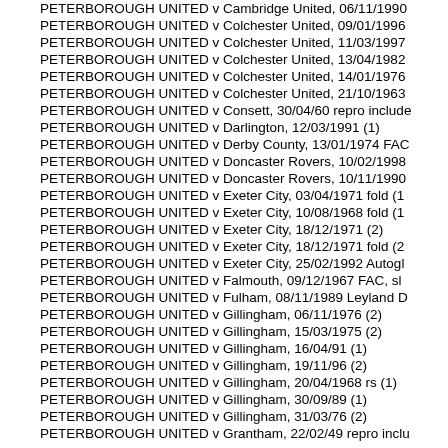PETERBOROUGH UNITED v Cambridge United, 06/11/1990
PETERBOROUGH UNITED v Colchester United, 09/01/1996
PETERBOROUGH UNITED v Colchester United, 11/03/1997
PETERBOROUGH UNITED v Colchester United, 13/04/1982
PETERBOROUGH UNITED v Colchester United, 14/01/1976
PETERBOROUGH UNITED v Colchester United, 21/10/1963
PETERBOROUGH UNITED v Consett, 30/04/60 repro include
PETERBOROUGH UNITED v Darlington, 12/03/1991 (1)
PETERBOROUGH UNITED v Derby County, 13/01/1974 FAC
PETERBOROUGH UNITED v Doncaster Rovers, 10/02/1998
PETERBOROUGH UNITED v Doncaster Rovers, 10/11/1990
PETERBOROUGH UNITED v Exeter City, 03/04/1971 fold (1)
PETERBOROUGH UNITED v Exeter City, 10/08/1968 fold (1)
PETERBOROUGH UNITED v Exeter City, 18/12/1971 (2)
PETERBOROUGH UNITED v Exeter City, 18/12/1971 fold (2)
PETERBOROUGH UNITED v Exeter City, 25/02/1992 Autogl
PETERBOROUGH UNITED v Falmouth, 09/12/1967 FAC, sl
PETERBOROUGH UNITED v Fulham, 08/11/1989 Leyland D
PETERBOROUGH UNITED v Gillingham, 06/11/1976 (2)
PETERBOROUGH UNITED v Gillingham, 15/03/1975 (2)
PETERBOROUGH UNITED v Gillingham, 16/04/91 (1)
PETERBOROUGH UNITED v Gillingham, 19/11/96 (2)
PETERBOROUGH UNITED v Gillingham, 20/04/1968 rs (1)
PETERBOROUGH UNITED v Gillingham, 30/09/89 (1)
PETERBOROUGH UNITED v Gillingham, 31/03/76 (2)
PETERBOROUGH UNITED v Grantham, 22/02/49 repro inclu